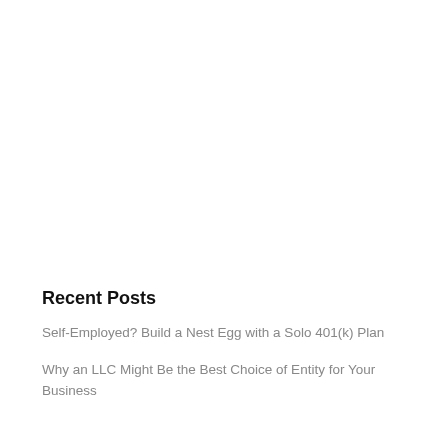Recent Posts
Self-Employed? Build a Nest Egg with a Solo 401(k) Plan
Why an LLC Might Be the Best Choice of Entity for Your Business